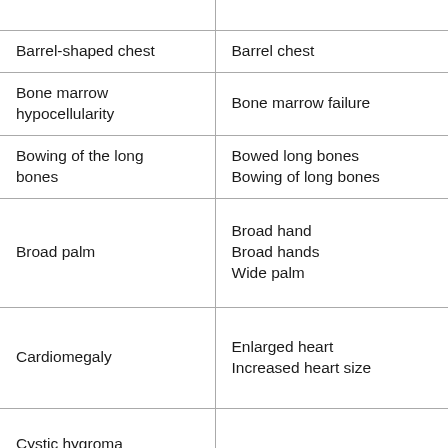| (truncated top) |  |
| Barrel-shaped chest | Barrel chest |
| Bone marrow hypocellularity | Bone marrow failure |
| Bowing of the long bones | Bowed long bones
Bowing of long bones |
| Broad palm | Broad hand
Broad hands
Wide palm |
| Cardiomegaly | Enlarged heart
Increased heart size |
| Cystic hygroma |  |